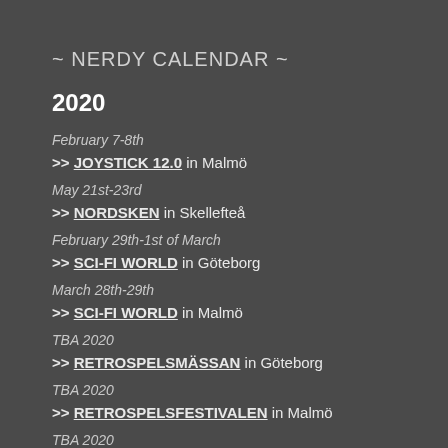~ NERDY CALENDAR ~
2020
February 7-8th
>> JOYSTICK 12.0 in Malmö
May 21st-23rd
>> NORDSKEN in Skellefteå
February 29th-1st of March
>> SCI-FI WORLD in Göteborg
March 28th-29th
>> SCI-FI WORLD in Malmö
TBA 2020
>> RETROSPELSMÄSSAN in Göteborg
TBA 2020
>> RETROSPELSFESTIVALEN in Malmö
TBA 2020